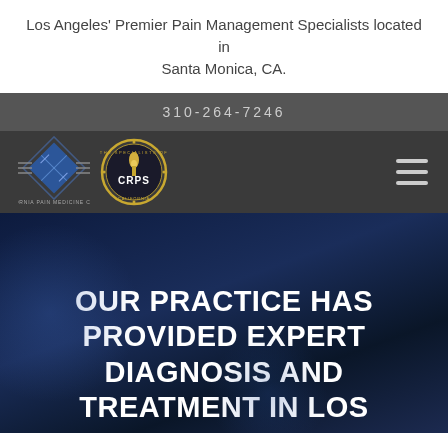Los Angeles' Premier Pain Management Specialists located in Santa Monica, CA.
310-264-7246
[Figure (logo): California Pain Medicine Center logo with blue diamond shape and CRPS certification seal]
OUR PRACTICE HAS PROVIDED EXPERT DIAGNOSIS AND TREATMENT IN LOS